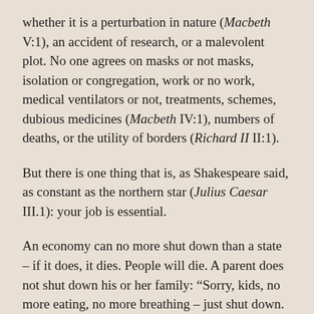whether it is a perturbation in nature (Macbeth V:1), an accident of research, or a malevolent plot. No one agrees on masks or not masks, isolation or congregation, work or no work, medical ventilators or not, treatments, schemes, dubious medicines (Macbeth IV:1), numbers of deaths, or the utility of borders (Richard II II:1).
But there is one thing that is, as Shakespeare said, as constant as the northern star (Julius Caesar III.1): your job is essential.
An economy can no more shut down than a state – if it does, it dies. People will die. A parent does not shut down his or her family: “Sorry, kids, no more eating, no more breathing – just shut down. No complaints, please; just die quietly.”
Water does not come from a tap, electricity does not come from a little box in the wall, and food does not come from the store. All work begins in raw land and...